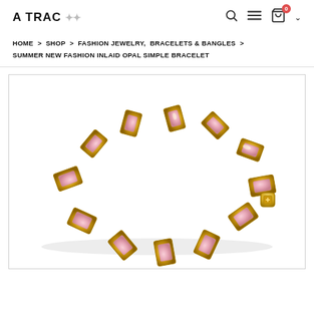A TRAC
HOME > SHOP > FASHION JEWELRY, BRACELETS & BANGLES > SUMMER NEW FASHION INLAID OPAL SIMPLE BRACELET
[Figure (photo): Product photo of a gold tennis bracelet with pink opal rectangular stones set in gold square bezels, shown against a white background.]